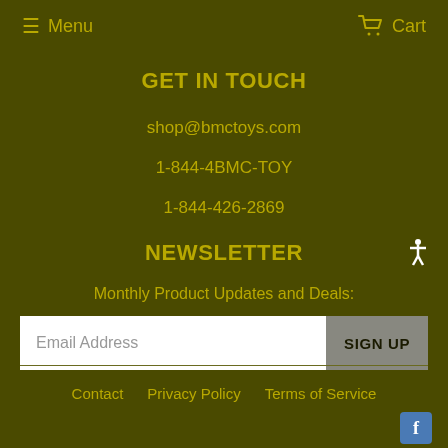Menu   Cart
GET IN TOUCH
shop@bmctoys.com
1-844-4BMC-TOY
1-844-426-2869
NEWSLETTER
Monthly Product Updates and Deals:
Email Address   SIGN UP
Contact   Privacy Policy   Terms of Service